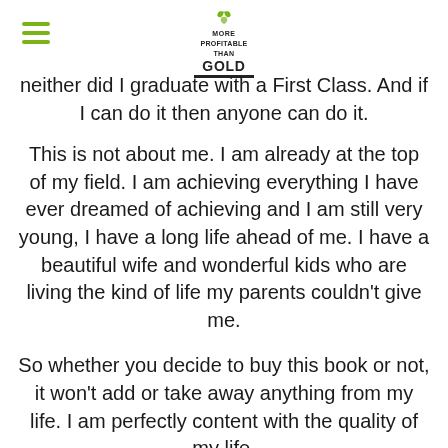MORE PROFITABLE THAN GOLD
neither did I graduate with a First Class. And if I can do it then anyone can do it.
This is not about me. I am already at the top of my field. I am achieving everything I have ever dreamed of achieving and I am still very young, I have a long life ahead of me. I have a beautiful wife and wonderful kids who are living the kind of life my parents couldn't give me.
So whether you decide to buy this book or not, it won't add or take away anything from my life. I am perfectly content with the quality of my life.